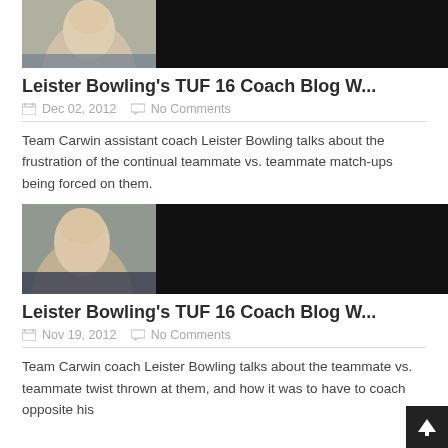[Figure (photo): Thumbnail image of a person with dark background]
Leister Bowling's TUF 16 Coach Blog W...
Dec 02, 2012   No Comments
Team Carwin assistant coach Leister Bowling talks about the frustration of the continual teammate vs. teammate match-ups being forced on them.
[Figure (photo): Thumbnail image of a person with dark background]
Leister Bowling's TUF 16 Coach Blog W...
Nov 19, 2012   No Comments
Team Carwin coach Leister Bowling talks about the teammate vs. teammate twist thrown at them, and how it was to have to coach opposite his